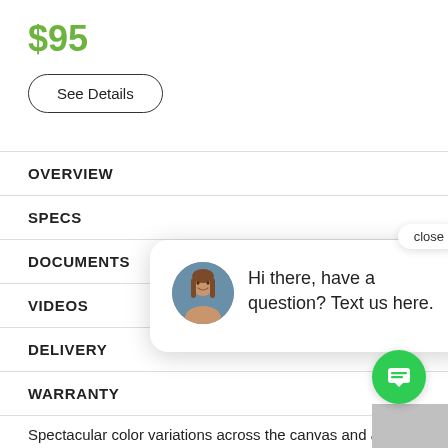$95
See Details
OVERVIEW
SPECS
DOCUMENTS
VIDEOS
DELIVERY
WARRANTY
[Figure (illustration): Chat popup with close button, woman avatar, and message: Hi there, have a question? Text us here. Green chat button with message icon in bottom right corner.]
Spectacular color variations across the canvas and a